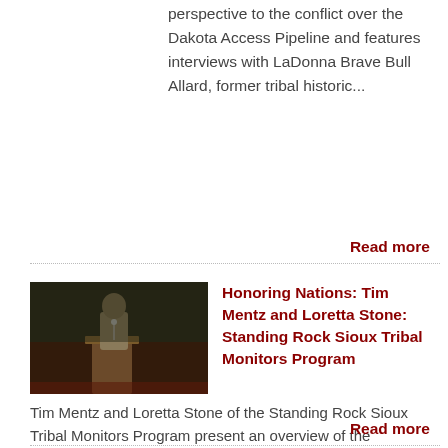perspective to the conflict over the Dakota Access Pipeline and features interviews with LaDonna Brave Bull Allard, former tribal historic...
Read more
[Figure (photo): A person standing at a podium or microphone, photographed at an event. Dark background, figure appears to be wearing a light-colored shirt.]
Honoring Nations: Tim Mentz and Loretta Stone: Standing Rock Sioux Tribal Monitors Program
Tim Mentz and Loretta Stone of the Standing Rock Sioux Tribal Monitors Program present an overview of the program's work to the Honoring Nations Board of Governors in conjunction with the 2005 Honoring Nations Awards.
Read more